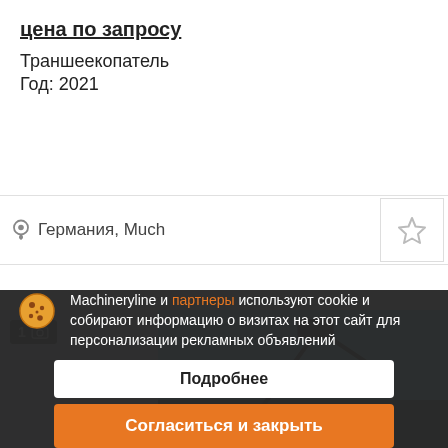цена по запросу
Траншеекопатель
Год: 2021
Германия, Much
[Figure (photo): Machinery listing image showing construction equipment against blue sky, with photo count badge showing 1 photo]
Machineryline и партнеры используют cookie и собирают информацию о визитах на этот сайт для персонализации рекламных объявлений
Подробнее
Согласиться и закрыть
SIMEX PLSG Leitplank
цена по запросу
Дорожная фреза
Год: 2021